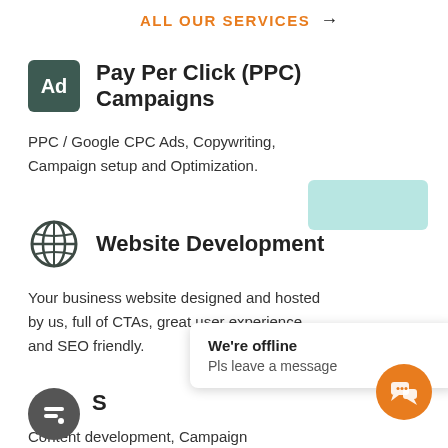ALL OUR SERVICES →
Pay Per Click (PPC) Campaigns
PPC / Google CPC Ads, Copywriting, Campaign setup and Optimization.
[Figure (illustration): Teal/light blue decorative rectangle shape]
Website Development
Your business website designed and hosted by us, full of CTAs, great user experience and SEO friendly.
S…
Content development, Campaign…
We're offline
Pls leave a message